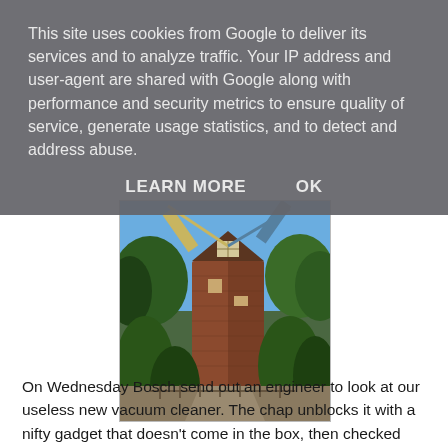This site uses cookies from Google to deliver its services and to analyze traffic. Your IP address and user-agent are shared with Google along with performance and security metrics to ensure quality of service, generate usage statistics, and to detect and address abuse.
LEARN MORE   OK
[Figure (photo): Photograph of a brick windmill building with sails visible at top, surrounded by trees and greenery, a fence path in the foreground, and blue sky in the background.]
On Wednesday Bosch send out an engineer to look at our useless new vacuum cleaner. The chap unblocks it with a nifty gadget that doesn't come in the box, then checked the motor and proclaimed it fine. He wasn't very interested